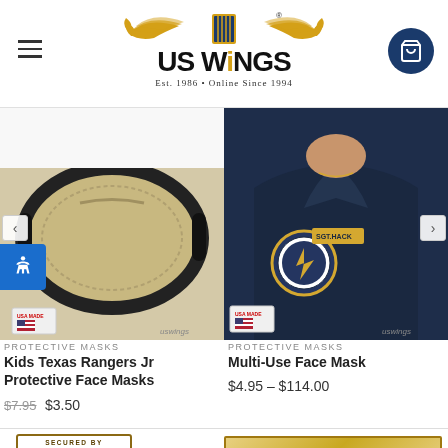US Wings — Est. 1986 · Online Since 1994
[Figure (photo): Kids Texas Rangers Jr Protective Face Mask — tan/khaki mask with black elastic loops on white background, USA Made badge, US Wings logo]
[Figure (photo): Multi-Use Face Mask — person wearing dark navy jacket with embroidered patch reading SGT. HACK, USA Made badge, US Wings logo]
PROTECTIVE MASKS
Kids Texas Rangers Jr Protective Face Masks
$7.95  $3.50
PROTECTIVE MASKS
Multi-Use Face Mask
$4.95 – $114.00
[Figure (logo): Secured by RapidSSL badge — up to 256-bit SSL]
[Figure (logo): 5-star Gold Site badge in gold/navy]